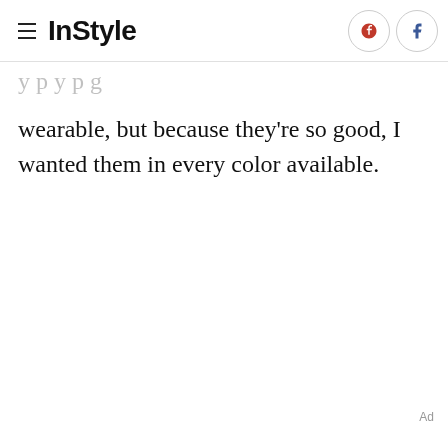InStyle
wearable, but because they're so good, I wanted them in every color available.
Ad